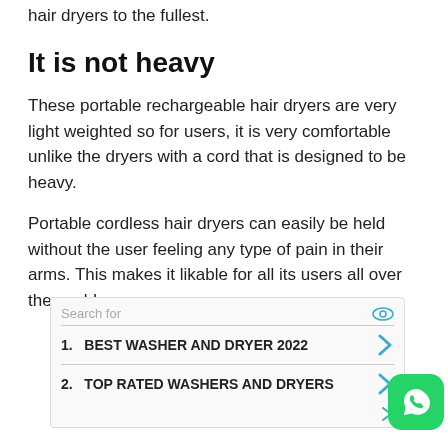hair dryers to the fullest.
It is not heavy
These portable rechargeable hair dryers are very light weighted so for users, it is very comfortable unlike the dryers with a cord that is designed to be heavy.
Portable cordless hair dryers can easily be held without the user feeling any type of pain in their arms. This makes it likable for all its users all over the world.
[Figure (other): Search ad widget with 'Search for' label, eye icon, and two rows: 1. BEST WASHER AND DRYER 2022 (with arrow), 2. TOP RATED WASHERS AND DRYERS (with arrow), plus a WhatsApp button icon in the bottom right corner.]